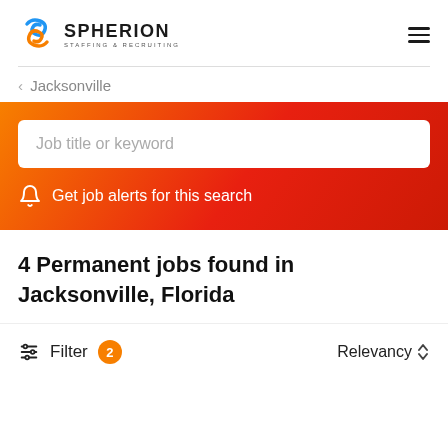[Figure (logo): Spherion Staffing & Recruiting logo with blue and orange swirl icon]
‹ Jacksonville
Job title or keyword
Get job alerts for this search
4 Permanent jobs found in Jacksonville, Florida
Filter  2   Relevancy